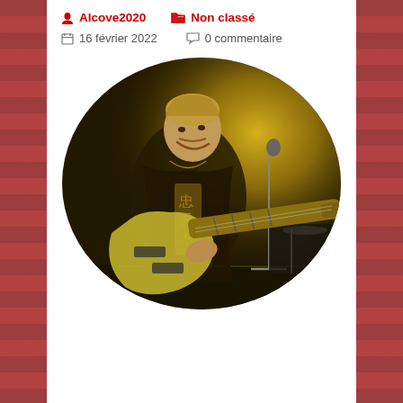Alcove2020    Non classé
16 février 2022    0 commentaire
[Figure (photo): Concert photo of a male rock musician smiling, playing a light-colored electric guitar on stage, wearing a black jacket with Asian characters/Japanese kanji design. Stage lighting creates a warm golden-yellow glow in the background. A microphone stand is visible to the right. The photo is displayed in an oval/rounded rectangle frame.]